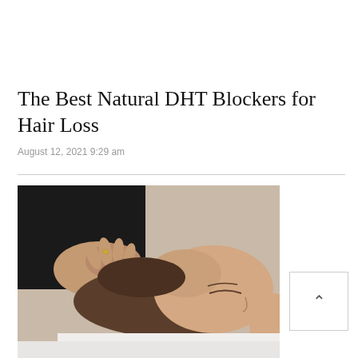The Best Natural DHT Blockers for Hair Loss
August 12, 2021 9:29 am
[Figure (photo): A person lying down receiving a scalp massage from a practitioner's hands, eyes closed, on a white towel/pillow.]